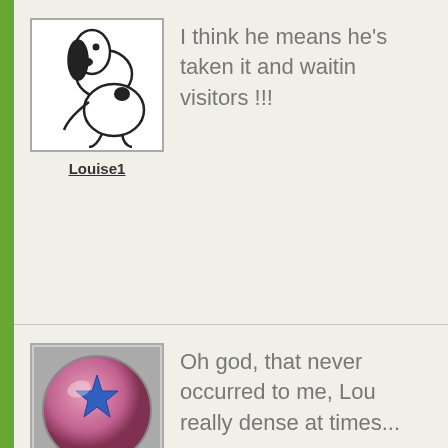Louise1
I think he means he's taken it and waiting for visitors !!!
Bamboo
Oh god, that never occurred to me, Lou... really dense at times...
Bluespruce
I know Bamboo. You can be first in the queue like, if you can cope with the jealous rivals...